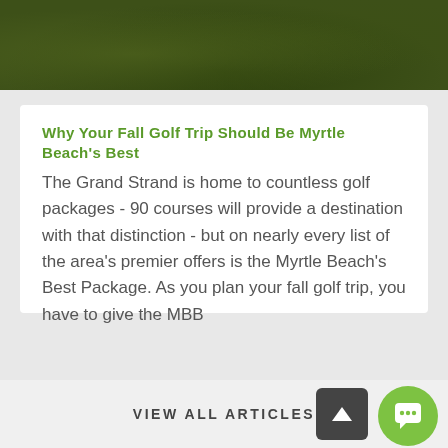[Figure (photo): Landscape photo of grass and greenery, cropped at top of page]
Why Your Fall Golf Trip Should Be Myrtle Beach's Best
The Grand Strand is home to countless golf packages - 90 courses will provide a destination with that distinction - but on nearly every list of the area's premier offers is the Myrtle Beach's Best Package. As you plan your fall golf trip, you have to give the MBB
VIEW ALL ARTICLES